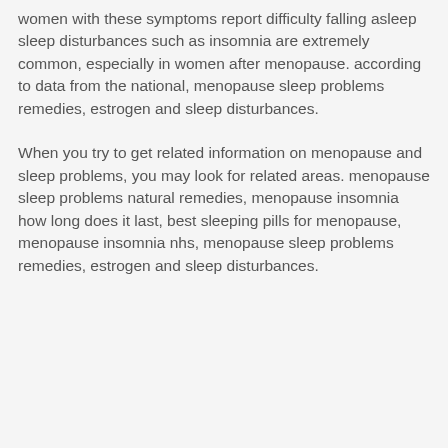women with these symptoms report difficulty falling asleep sleep disturbances such as insomnia are extremely common, especially in women after menopause. according to data from the national, menopause sleep problems remedies, estrogen and sleep disturbances.
When you try to get related information on menopause and sleep problems, you may look for related areas. menopause sleep problems natural remedies, menopause insomnia how long does it last, best sleeping pills for menopause, menopause insomnia nhs, menopause sleep problems remedies, estrogen and sleep disturbances.